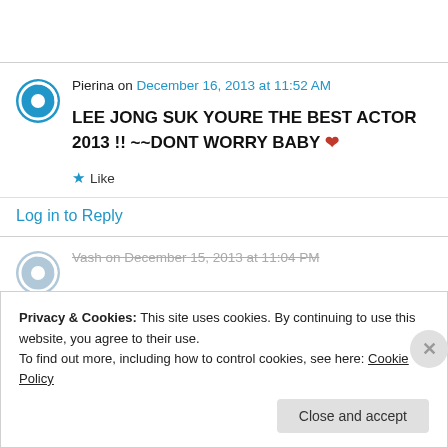Pierina on December 16, 2013 at 11:52 AM
LEE JONG SUK YOURE THE BEST ACTOR 2013 !! ~~DONT WORRY BABY ❤
★ Like
Log in to Reply
Vash on December 15, 2013 at 11:04 PM
Privacy & Cookies: This site uses cookies. By continuing to use this website, you agree to their use. To find out more, including how to control cookies, see here: Cookie Policy
Close and accept